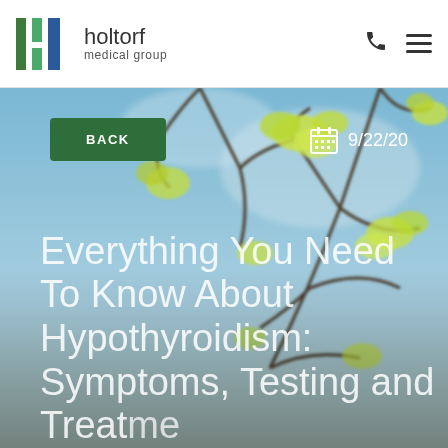holtorf medical group
[Figure (photo): Background photo of green spring leaves / blossoms against a blue sky, partially obscured by branches. Used as hero image background for a medical blog article.]
BACK
9/22/20
Everything You Need To Know About Hypothyroidism: Symptoms, Testing and Treatments